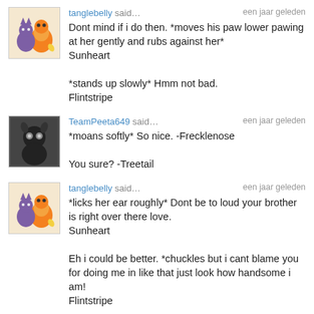tanglebelly said… een jaar geleden
Dont mind if i do then. *moves his paw lower pawing at her gently and rubs against her*
Sunheart

*stands up slowly* Hmm not bad.
Flintstripe
TeamPeeta649 said… een jaar geleden
*moans softly* So nice. -Frecklenose

You sure? -Treetail
tanglebelly said… een jaar geleden
*licks her ear roughly* Dont be to loud your brother is right over there love.
Sunheart

Eh i could be better. *chuckles but i cant blame you for doing me in like that just look how handsome i am!
Flintstripe